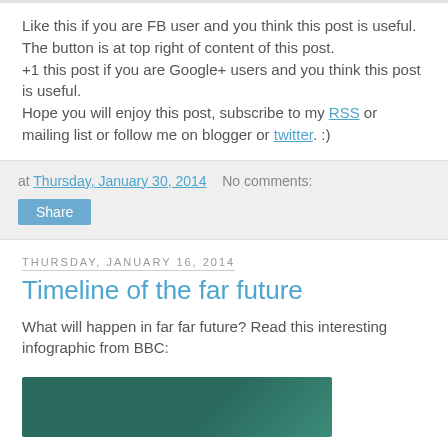Like this if you are FB user and you think this post is useful. The button is at top right of content of this post.
+1 this post if you are Google+ users and you think this post is useful.
Hope you will enjoy this post, subscribe to my RSS or mailing list or follow me on blogger or twitter. :)
at Thursday, January 30, 2014   No comments:
Share
Thursday, January 16, 2014
Timeline of the far future
What will happen in far far future? Read this interesting infographic from BBC:
[Figure (infographic): Partially visible infographic image with teal/green background, from BBC about the timeline of the far future]